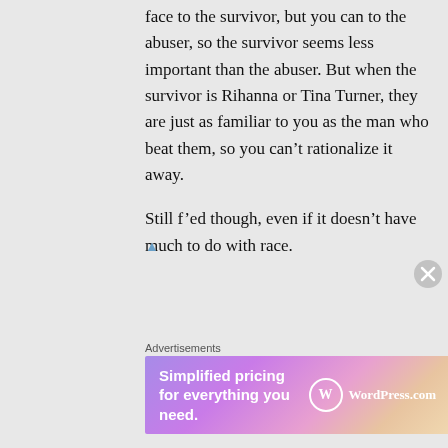face to the survivor, but you can to the abuser, so the survivor seems less important than the abuser. But when the survivor is Rihanna or Tina Turner, they are just as familiar to you as the man who beat them, so you can't rationalize it away.

Still f'ed though, even if it doesn't have much to do with race.
[Figure (other): Advertisement banner: WordPress.com - Simplified pricing for everything you need.]